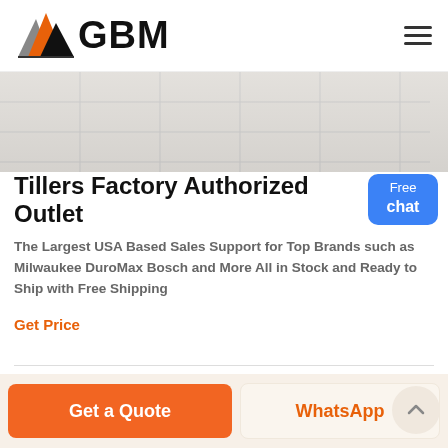GBM
[Figure (photo): Banner image showing marble/tile flooring texture, light grey tones]
Tillers Factory Authorized Outlet
The Largest USA Based Sales Support for Top Brands such as Milwaukee DuroMax Bosch and More All in Stock and Ready to Ship with Free Shipping
Get Price
Get a Quote
WhatsApp